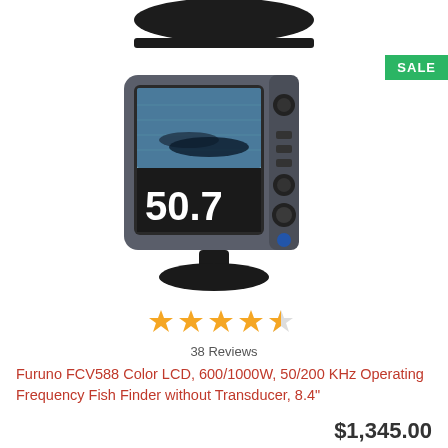[Figure (photo): Top portion of a dark antenna/mount accessory, partially cropped at top of page]
[Figure (photo): Furuno FCV588 fish finder device with color LCD display showing sonar reading of 50.7, grey body with control buttons on the right side, mounted on a black pedestal stand. Green SALE badge in top-right corner.]
38 Reviews
Furuno FCV588 Color LCD, 600/1000W, 50/200 KHz Operating Frequency Fish Finder without Transducer, 8.4"
$1,345.00